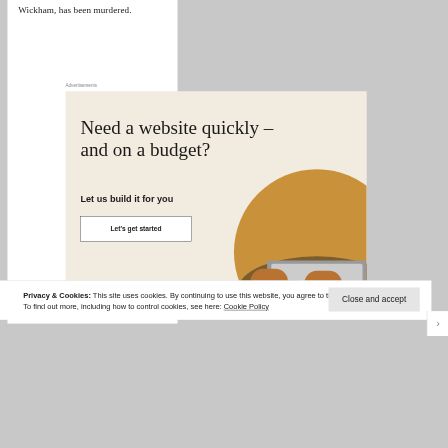Wickham, has been murdered.
Advertisements
[Figure (infographic): Advertisement banner with beige background. Large serif headline: 'Need a website quickly – and on a budget?' Subtext: 'Let us build it for you'. A white button labeled 'Let's get started'. A circular cropped photo of hands typing on a laptop.]
Privacy & Cookies: This site uses cookies. By continuing to use this website, you agree to their use.
To find out more, including how to control cookies, see here: Cookie Policy
Close and accept